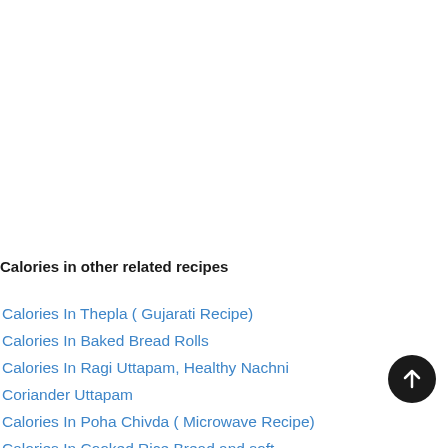Calories in other related recipes
Calories In Thepla ( Gujarati Recipe)
Calories In Baked Bread Rolls
Calories In Ragi Uttapam, Healthy Nachni Coriander Uttapam
Calories In Poha Chivda ( Microwave Recipe)
Calories In Cooked Rice Bread and soft...